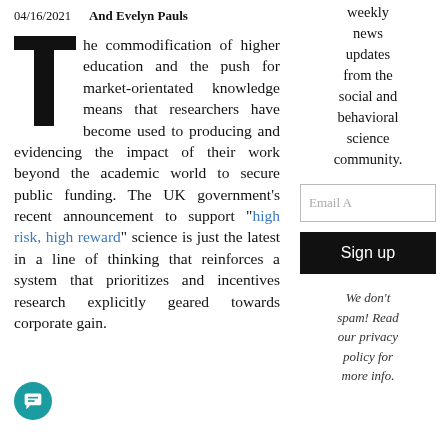04/16/2021    And Evelyn Pauls
The commodification of higher education and the push for market-orientated knowledge means that researchers have become used to producing and evidencing the impact of their work beyond the academic world to secure public funding. The UK government's recent announcement to support “high risk, high reward” science is just the latest in a line of thinking that reinforces a system that prioritizes and incentives research explicitly geared towards corporate gain.
weekly news updates from the social and behavioral science community.
Email A
Sign up
We don’t spam! Read our privacy policy for more info.